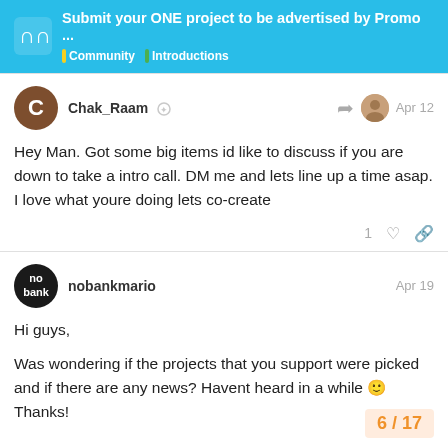Submit your ONE project to be advertised by Promo … Community Introductions
Chak_Raam Apr 12
Hey Man. Got some big items id like to discuss if you are down to take a intro call. DM me and lets line up a time asap. I love what youre doing lets co-create
nobankmario Apr 19
Hi guys,
Was wondering if the projects that you support were picked and if there are any news? Havent heard in a while 🙂
Thanks!
6 / 17